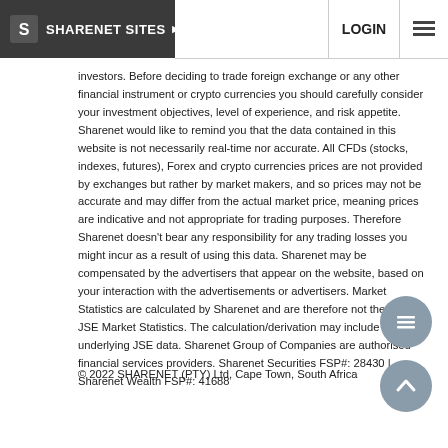SHARENET SITES | LOGIN
investors. Before deciding to trade foreign exchange or any other financial instrument or crypto currencies you should carefully consider your investment objectives, level of experience, and risk appetite. Sharenet would like to remind you that the data contained in this website is not necessarily real-time nor accurate. All CFDs (stocks, indexes, futures), Forex and crypto currencies prices are not provided by exchanges but rather by market makers, and so prices may not be accurate and may differ from the actual market price, meaning prices are indicative and not appropriate for trading purposes. Therefore Sharenet doesn’t bear any responsibility for any trading losses you might incur as a result of using this data. Sharenet may be compensated by the advertisers that appear on the website, based on your interaction with the advertisements or advertisers. Market Statistics are calculated by Sharenet and are therefore not the official JSE Market Statistics. The calculation/derivation may include underlying JSE data. Sharenet Group of Companies are authorised financial services providers. Sharenet Securities FSP#: 28430 | Sharenet Wealth FSP#: 41688
© 2022 SHARENET (PTY) Ltd, Cape Town, South Africa